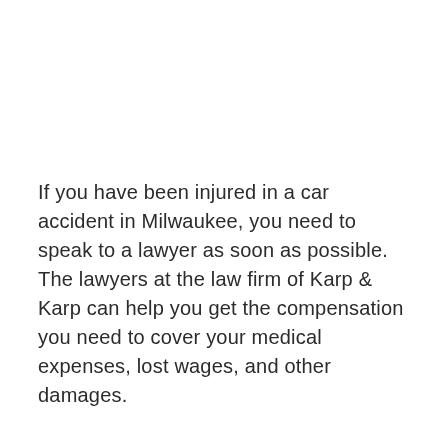If you have been injured in a car accident in Milwaukee, you need to speak to a lawyer as soon as possible. The lawyers at the law firm of Karp & Karp can help you get the compensation you need to cover your medical expenses, lost wages, and other damages.